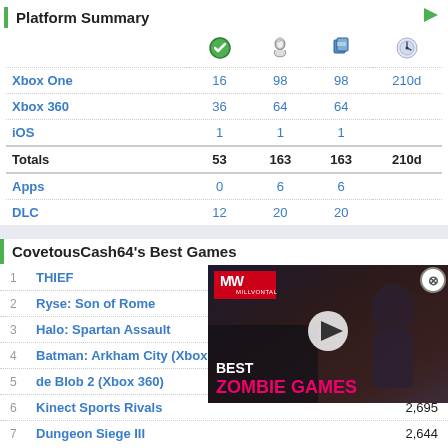Platform Summary
|  |  |  |  |  |
| --- | --- | --- | --- | --- |
| Xbox One | 16 | 98 | 98 | 210d |
| Xbox 360 | 36 | 64 | 64 |  |
| iOS | 1 | 1 | 1 |  |
| Totals | 53 | 163 | 163 | 210d |
| Apps | 0 | 6 | 6 |  |
| DLC | 12 | 20 | 20 |  |
CovetousCash64's Best Games
1  THIEF
2  Ryse: Son of Rome
3  Halo: Spartan Assault
4  Batman: Arkham City (Xbox 360)
5  de Blob 2 (Xbox 360)
6  Kinect Sports Rivals  2,695
7  Dungeon Siege III  2,644